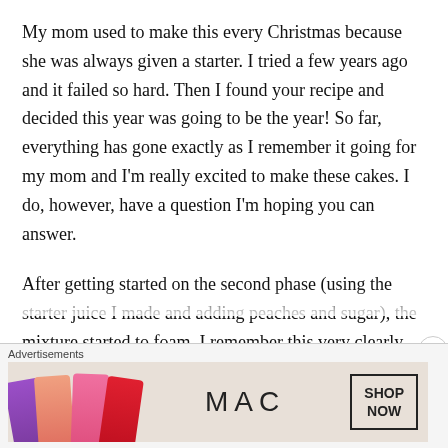My mom used to make this every Christmas because she was always given a starter. I tried a few years ago and it failed so hard. Then I found your recipe and decided this year was going to be the year! So far, everything has gone exactly as I remember it going for my mom and I'm really excited to make these cakes. I do, however, have a question I'm hoping you can answer.
After getting started on the second phase (using the starter juice I made and adding peaches and sugar), the mixture started to foam. I remember this very clearly from years ago, so all was well...
Advertisements
[Figure (other): MAC cosmetics advertisement banner showing colorful lipsticks on left, MAC logo in center, and SHOP NOW button on right]